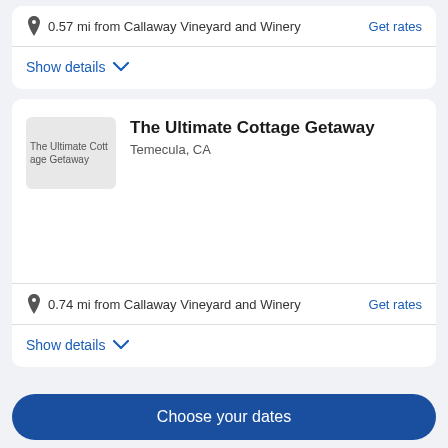0.57 mi from Callaway Vineyard and Winery
Get rates
Show details
The Ultimate Cottage Getaway
Temecula, CA
0.74 mi from Callaway Vineyard and Winery
Get rates
Show details
Choose your dates